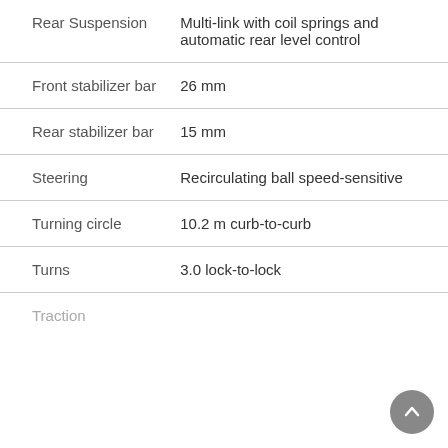| Specification | Value |
| --- | --- |
| Rear Suspension | Multi-link with coil springs and automatic rear level control |
| Front stabilizer bar | 26 mm |
| Rear stabilizer bar | 15 mm |
| Steering | Recirculating ball speed-sensitive |
| Turning circle | 10.2 m curb-to-curb |
| Turns | 3.0 lock-to-lock |
| Traction |  |